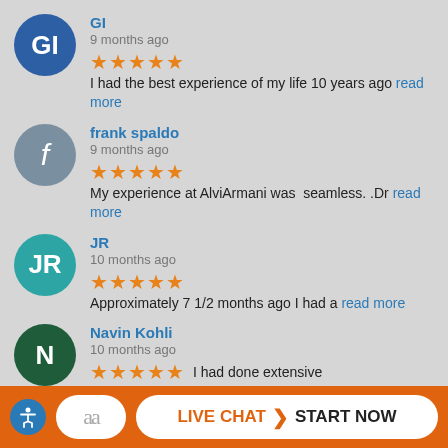GI — 9 months ago — 5 stars — I had the best experience of my life 10 years ago read more
frank spaldo — 9 months ago — 5 stars — My experience at AlviArmani was seamless. .Dr read more
JR — 10 months ago — 5 stars — Approximately 7 1/2 months ago I had a read more
Navin Kohli — 10 months ago — 5 stars — I had done extensive res...
LIVE CHAT > START NOW